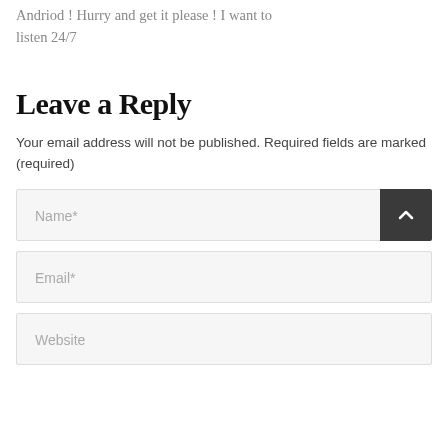Andriod ! Hurry and get it please ! I want to listen 24/7
Leave a Reply
Your email address will not be published. Required fields are marked (required)
Name*
Email*
Website